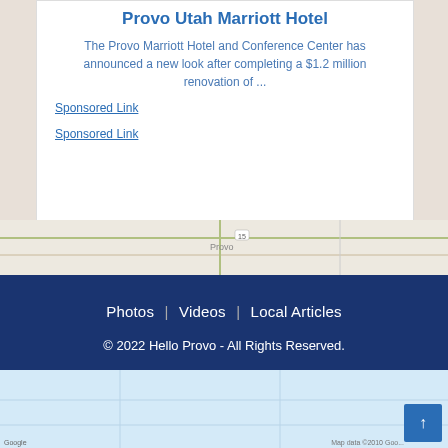Provo Utah Marriott Hotel
The Provo Marriott Hotel and Conference Center has announced a new look after completing a $1.2 million renovation of ...
Sponsored Link
Sponsored Link
[Figure (map): Google Map showing Provo, Utah area with road grid and Provo city label]
Photos | Videos | Local Articles
© 2022 Hello Provo - All Rights Reserved.
Privacy Policy | Terms & Conditions | Contact Us
Server Error
Our system is experiencing some issues at this time. Please